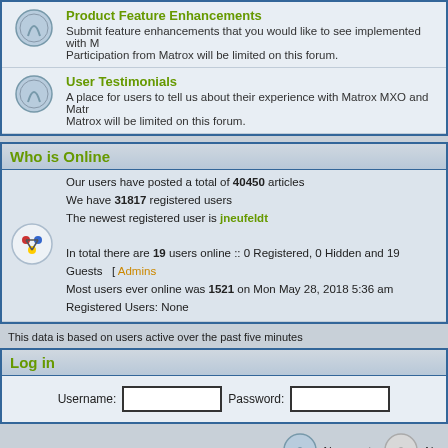Product Feature Enhancements
Submit feature enhancements that you would like to see implemented with M... Participation from Matrox will be limited on this forum.
User Testimonials
A place for users to tell us about their experience with Matrox MXO and Matr... Matrox will be limited on this forum.
Who is Online
Our users have posted a total of 40450 articles
We have 31817 registered users
The newest registered user is jneufeldt
In total there are 19 users online :: 0 Registered, 0 Hidden and 19 Guests  [ Admins...
Most users ever online was 1521 on Mon May 28, 2018 5:36 am
Registered Users: None
This data is based on users active over the past five minutes
Log in
Username:   Password:
New posts
This board is prote... Powered by phpBB ©